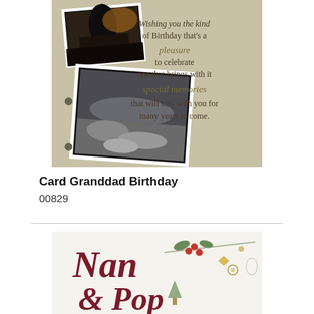[Figure (photo): Birthday card for Granddad showing a scrapbook-style layout with two photographs of nature scenes on a cream/tan textured background, with cursive and serif text reading: Wishing you the kind of Birthday that's a pleasure to celebrate one that brings with it special memories that will stay with you for many years to come.]
Card Granddad Birthday
00829
[Figure (photo): Christmas card partially visible showing cursive text 'Nan & Pop' in dark red/maroon script on a white background with decorative holly and floral elements in muted colors.]